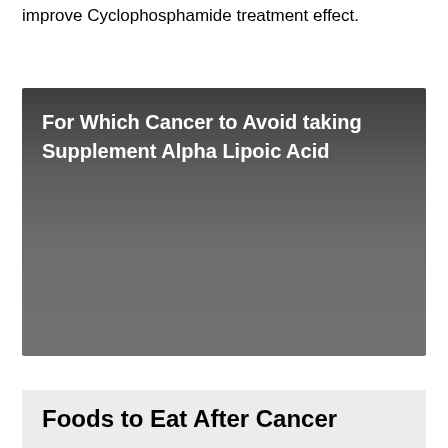improve Cyclophosphamide treatment effect.
[Figure (other): Dark gray gradient banner with white bold text reading: For Which Cancer to Avoid taking Supplement Alpha Lipoic Acid]
Foods to Eat After Cancer